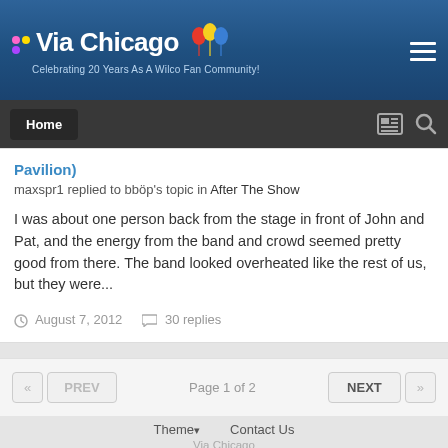Via Chicago — Celebrating 20 Years As A Wilco Fan Community!
Pavilion)
maxspr1 replied to bböp's topic in After The Show
I was about one person back from the stage in front of John and Pat, and the energy from the band and crowd seemed pretty good from there. The band looked overheated like the rest of us, but they were...
August 7, 2012   30 replies
Page 1 of 2
Theme ▾   Contact Us
Via Chicago
Powered by Invision Community